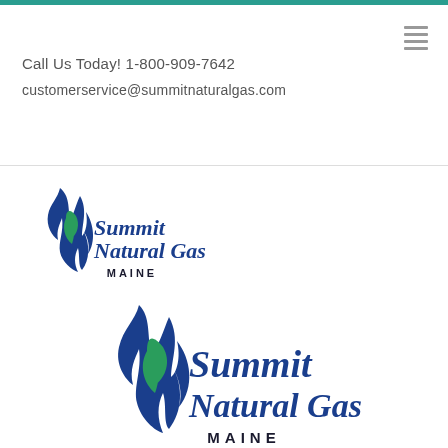Call Us Today! 1-800-909-7642
customerservice@summitnaturalgas.com
[Figure (logo): Summit Natural Gas Maine logo (small)]
[Figure (logo): Summit Natural Gas Maine logo (large)]